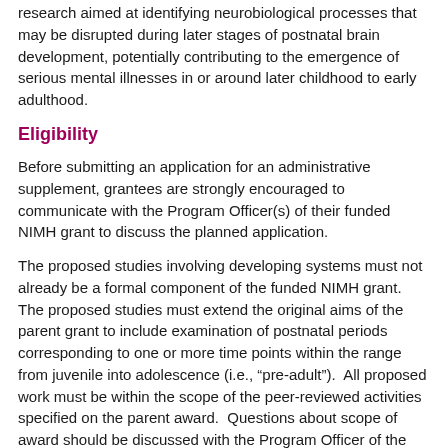research aimed at identifying neurobiological processes that may be disrupted during later stages of postnatal brain development, potentially contributing to the emergence of serious mental illnesses in or around later childhood to early adulthood.
Eligibility
Before submitting an application for an administrative supplement, grantees are strongly encouraged to communicate with the Program Officer(s) of their funded NIMH grant to discuss the planned application.
The proposed studies involving developing systems must not already be a formal component of the funded NIMH grant. The proposed studies must extend the original aims of the parent grant to include examination of postnatal periods corresponding to one or more time points within the range from juvenile into adolescence (i.e., “pre-adult”).  All proposed work must be within the scope of the peer-reviewed activities specified on the parent award.  Questions about scope of award should be discussed with the Program Officer of the parent grant.  Supplements may be requested for basic neuroscience research in normal humans, however, this program is not intended to support clinical studies.